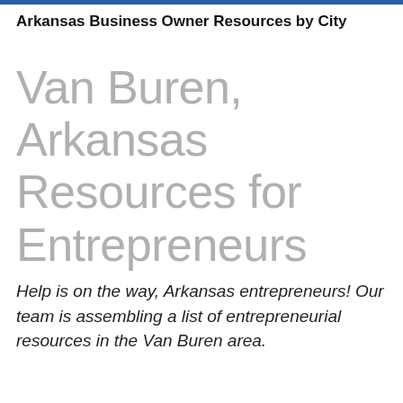Arkansas Business Owner Resources by City
Van Buren, Arkansas Resources for Entrepreneurs
Help is on the way, Arkansas entrepreneurs! Our team is assembling a list of entrepreneurial resources in the Van Buren area.